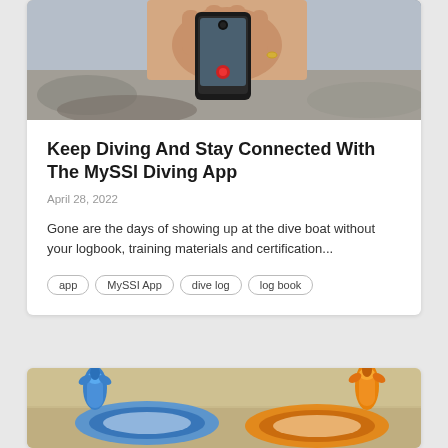[Figure (photo): A hand holding a smartphone, photographing or recording something at a beach or outdoor setting]
Keep Diving And Stay Connected With The MySSI Diving App
April 28, 2022
Gone are the days of showing up at the dive boat without your logbook, training materials and certification...
app   MySSI App   dive log   log book
[Figure (photo): Two snorkeling/diving masks with earplugs on a sandy beach — one blue and one orange set]